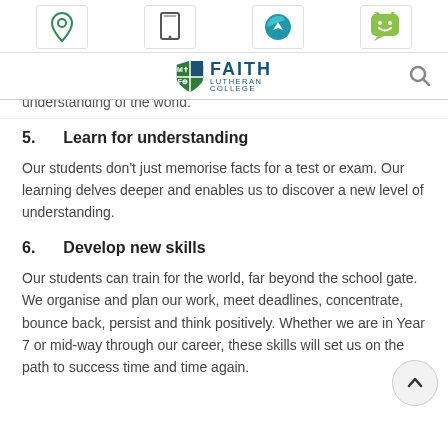[Figure (other): Page header with four navigation icon boxes (location pin, tablet/phone, compass/navigation, smiley face chat), Faith Lutheran College logo with shield, and a search magnifying glass icon]
understanding of the world.
5.    Learn for understanding
Our students don't just memorise facts for a test or exam. Our learning delves deeper and enables us to discover a new level of understanding.
6.    Develop new skills
Our students can train for the world, far beyond the school gate. We organise and plan our work, meet deadlines, concentrate, bounce back, persist and think positively. Whether we are in Year 7 or mid-way through our career, these skills will set us on the path to success time and time again.